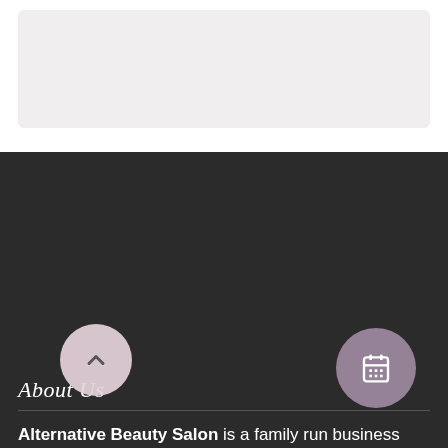[Figure (photo): Light grey placeholder image area at the top of the page]
About Us
Alternative Beauty Salon is a family run business with over 20 years of experience in the beauty industry. Based in Wishaw Lanarkshire, our highly qualified and trained beauty therapists cater for all your beauty needs.